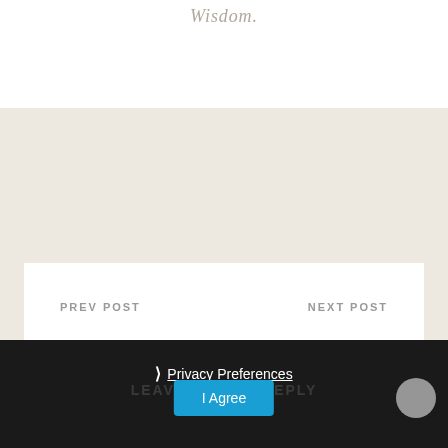Wisdom.
PREV POST
NEXT POST
× Privacy Preferences I Agree LEAVE A REPLY